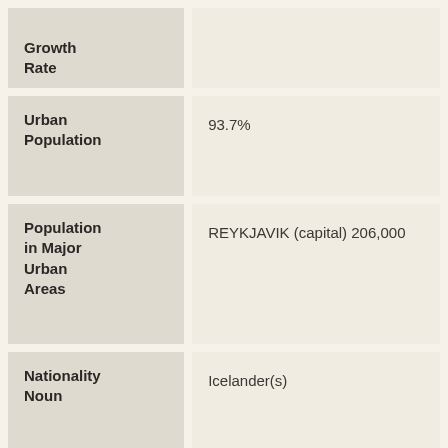| Field | Value |
| --- | --- |
| Growth Rate |  |
| Urban Population | 93.7% |
| Population in Major Urban Areas | REYKJAVIK (capital) 206,000 |
| Nationality Noun | Icelander(s) |
| Nationality Adjective | Icelandic |
|  |  |